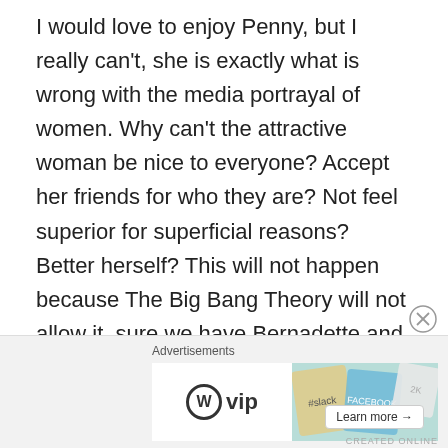I would love to enjoy Penny, but I really can't, she is exactly what is wrong with the media portrayal of women. Why can't the attractive woman be nice to everyone? Accept her friends for who they are? Not feel superior for superficial reasons? Better herself? This will not happen because The Big Bang Theory will not allow it, sure we have Bernadette and Amy who are stunning smart women, but especially in Amy's case she isn't considered a pretty one. She has grown as a character sure, but they tend to stop growing on this show. We can't be totally shocked by the treatment of women, especially with how Penny is constantly written from the makers of one of the most sexiest and misogynist shows of all time Two And A Half
[Figure (other): Advertisement bar with WordPress VIP logo and colorful banner showing Slack and Facebook logos with a Learn more button]